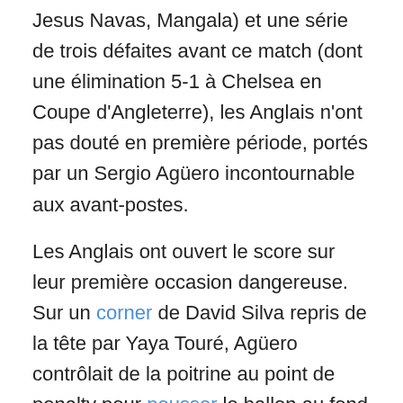Jesus Navas, Mangala) et une série de trois défaites avant ce match (dont une élimination 5-1 à Chelsea en Coupe d'Angleterre), les Anglais n'ont pas douté en première période, portés par un Sergio Agüero incontournable aux avant-postes.
Les Anglais ont ouvert le score sur leur première occasion dangereuse. Sur un corner de David Silva repris de la tête par Yaya Touré, Agüero contrôlait de la poitrine au point de penalty pour pousser le ballon au fond des filets (15e).
Le match, dont les premières minutes étaient dominées par les Ukrainiens, changeait alors de physionomie, tournant nettement à l'avantage des hommes de Manuel Pellegrini. Agüero passait même tout près du doublé sur une frappe un peu trop croisée au second poteau (21e).